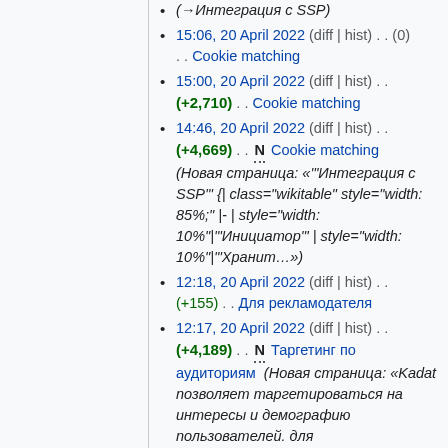(→Интеграция с SSP)
15:06, 20 April 2022 (diff | hist) . . (0) . . Cookie matching
15:00, 20 April 2022 (diff | hist) . . (+2,710) . . Cookie matching
14:46, 20 April 2022 (diff | hist) . . (+4,669) . . N Cookie matching (Новая страница: «'"Интеграция с SSP'" {| class="wikitable" style="width: 85%;" |- | style="width: 10%"|'"Инициатор'" | style="width: 10%"|'"Хранит…»)
12:18, 20 April 2022 (diff | hist) . . (+155) . . Для рекламодателя
12:17, 20 April 2022 (diff | hist) . . (+4,189) . . N Таргетинг по аудиториям (Новая страница: «Kadat позволяет таргетироваться на интересы и демографию пользователей. для